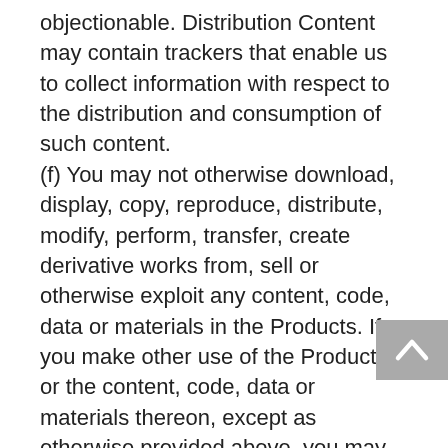objectionable. Distribution Content may contain trackers that enable us to collect information with respect to the distribution and consumption of such content.
(f) You may not otherwise download, display, copy, reproduce, distribute, modify, perform, transfer, create derivative works from, sell or otherwise exploit any content, code, data or materials in the Products. If you make other use of the Products, or the content, code, data or materials thereon, except as otherwise provided above, you may violate copyright and other laws of the United States, other countries, as well as applicable state laws and may be subject to liability for such unauthorized use. MemoryBanks will enforce its intellectual property rights to the fullest extent of the law, including the seeking of criminal